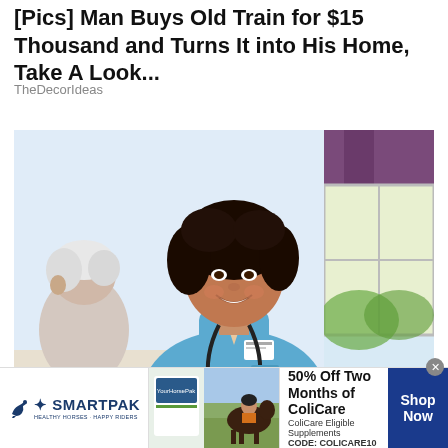[Pics] Man Buys Old Train for $15 Thousand and Turns It into His Home, Take A Look...
TheDecorIdeas
[Figure (photo): A smiling Black female nurse or healthcare worker in blue scrubs with stethoscope, talking with an elderly white-haired patient in what appears to be a home care setting with a window and purple curtains in background.]
[Figure (infographic): SmartPak advertisement banner: SmartPak logo on left with horse icon and tagline 'Healthy horses, happy riders', center shows product image and horse with rider photo, text reads '50% Off Two Months of ColiCare, ColiCare Eligible Supplements, CODE: COLICARE10', blue 'Shop Now' button on right. Close (x) button in top right corner.]